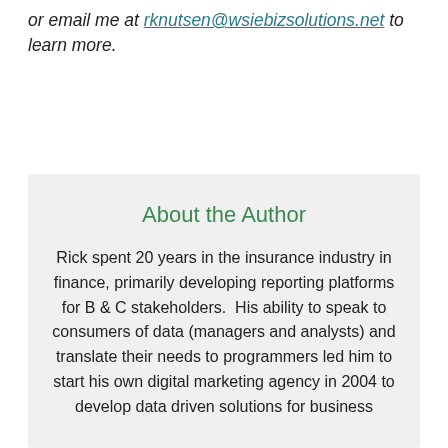or email me at rknutsen@wsiebizsolutions.net to learn more.
About the Author
Rick spent 20 years in the insurance industry in finance, primarily developing reporting platforms for B & C stakeholders.  His ability to speak to consumers of data (managers and analysts) and translate their needs to programmers led him to start his own digital marketing agency in 2004 to develop data driven solutions for business